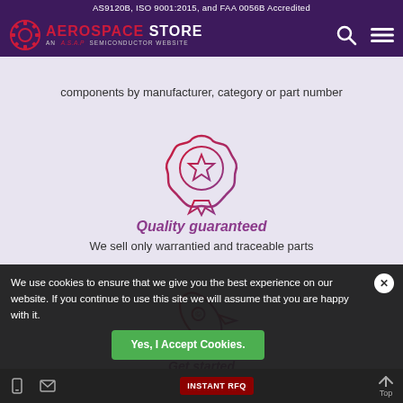AS9120B, ISO 9001:2015, and FAA 0056B Accredited
[Figure (logo): Aerospace Store logo — red gear icon with text 'AEROSPACE STORE AN A.S.A.P SEMICONDUCTOR WEBSITE']
Search the world's largest inventory of electronic components by manufacturer, category or part number
[Figure (illustration): Award/quality badge icon with star — crimson/magenta gradient outline style]
Quality guaranteed
We sell only warrantied and traceable parts
[Figure (illustration): Rocket ship icon — crimson/magenta gradient outline style]
Get started
inventory ready to ship from our sellers
We use cookies to ensure that we give you the best experience on our website. If you continue to use this site we will assume that you are happy with it.
Yes, I Accept Cookies.
INSTANT RFQ   Top